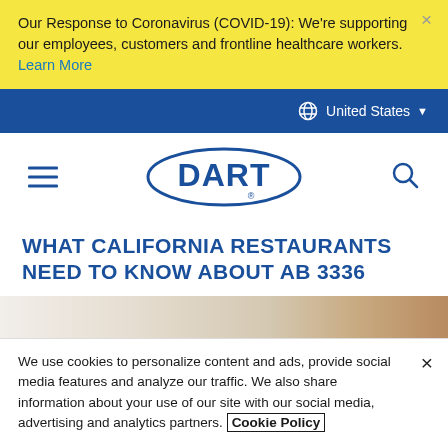Our Response to Coronavirus (COVID-19): We're supporting our employees, customers and frontline healthcare workers. Learn More
United States
[Figure (logo): DART logo in blue oval with hamburger menu and search icon]
WHAT CALIFORNIA RESTAURANTS NEED TO KNOW ABOUT AB 3336
[Figure (photo): Partial photo of food containers on a light background]
We use cookies to personalize content and ads, provide social media features and analyze our traffic. We also share information about your use of our site with our social media, advertising and analytics partners. Cookie Policy